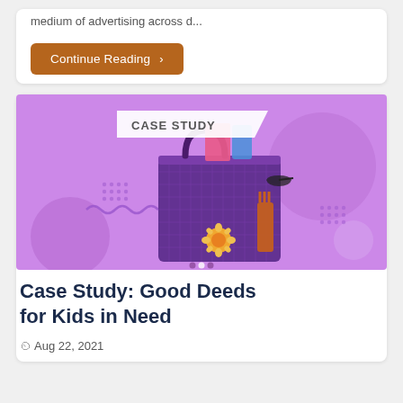medium of advertising across d...
Continue Reading ›
[Figure (illustration): Purple/violet banner image with 'CASE STUDY' label in top-left corner and a purple mesh tote bag filled with school/kids supplies in the center, on a purple geometric background with decorative dots and circles.]
Case Study: Good Deeds for Kids in Need
Aug 22, 2021